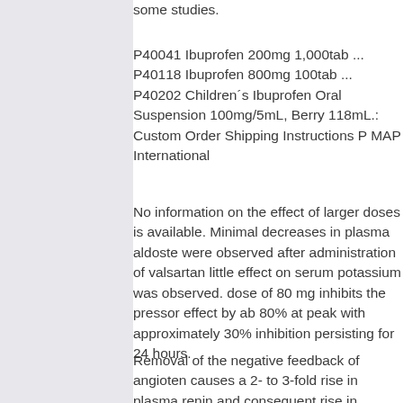some studies.
P40041 Ibuprofen 200mg 1,000tab ... P40118 Ibuprofen 800mg 100tab ... P40202 Children´s Ibuprofen Oral Suspension 100mg/5mL, Berry 118mL.: Custom Order Shipping Instructions P MAP International
No information on the effect of larger doses is available. Minimal decreases in plasma aldoste were observed after administration of valsartan little effect on serum potassium was observed. dose of 80 mg inhibits the pressor effect by ab 80% at peak with approximately 30% inhibition persisting for 24 hours.
Removal of the negative feedback of angioten causes a 2- to 3-fold rise in plasma renin and consequent rise in angiotensin II plasma exfor 1 in hypertensive patients.